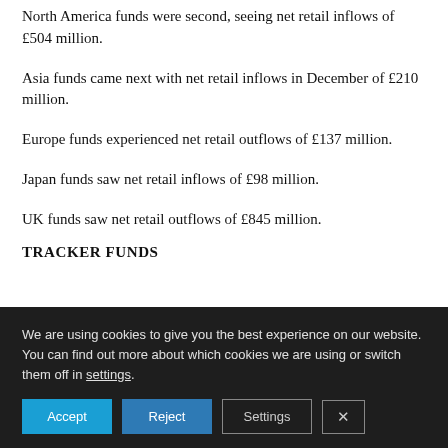North America funds were second, seeing net retail inflows of £504 million.
Asia funds came next with net retail inflows in December of £210 million.
Europe funds experienced net retail outflows of £137 million.
Japan funds saw net retail inflows of £98 million.
UK funds saw net retail outflows of £845 million.
TRACKER FUNDS
We are using cookies to give you the best experience on our website.
You can find out more about which cookies we are using or switch them off in settings.